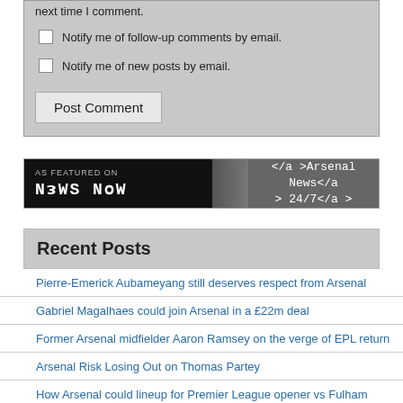next time I comment.
Notify me of follow-up comments by email.
Notify me of new posts by email.
Post Comment
[Figure (screenshot): News Now banner: AS FEATURED ON NEWS NOW logo on black background, with text '</a >Arsenal News</a > 24/7</a >' on grey background]
Recent Posts
Pierre-Emerick Aubameyang still deserves respect from Arsenal
Gabriel Magalhaes could join Arsenal in a £22m deal
Former Arsenal midfielder Aaron Ramsey on the verge of EPL return
Arsenal Risk Losing Out on Thomas Partey
How Arsenal could lineup for Premier League opener vs Fulham with 3 new signings